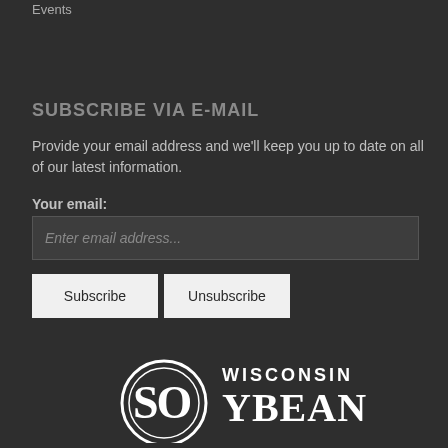Events
SUBSCRIBE VIA E-MAIL
Provide your email address and we'll keep you up to date on all of our latest information.
Your email:
Enter email address...
Subscribe   Unsubscribe
[Figure (logo): Wisconsin Soybean logo — circular emblem with WISCONSIN above and SOYBEAN below in large white letters on dark background]